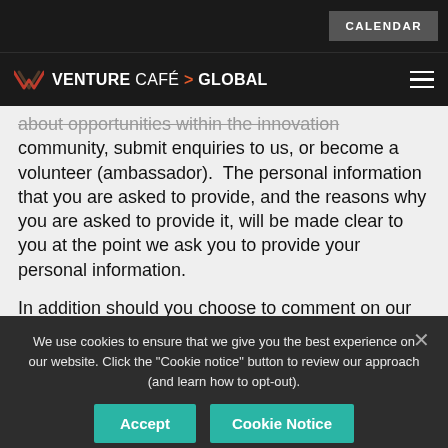CALENDAR
VENTURE CAFÉ > GLOBAL
about opportunities within the innovation community, submit enquiries to us, or become a volunteer (ambassador).  The personal information that you are asked to provide, and the reasons why you are asked to provide it, will be made clear to you at the point we ask you to provide your personal information.

In addition should you choose to comment on our blogs or discussion boards, please note that the
We use cookies to ensure that we give you the best experience on our website. Click the "Cookie notice" button to review our approach (and learn how to opt-out).